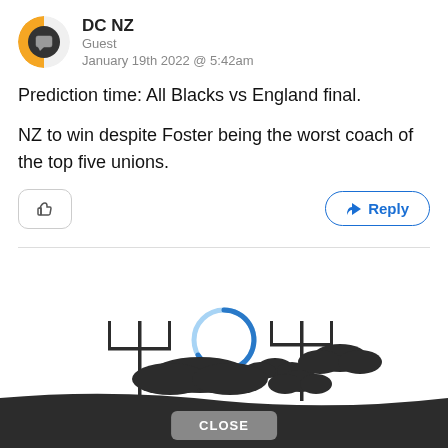DC NZ
Guest
January 19th 2022 @ 5:42am
Prediction time: All Blacks vs England final.
NZ to win despite Foster being the worst coach of the top five unions.
[Figure (illustration): Loading spinner (blue circle) above a rugby stadium illustration with goalposts and dark ground silhouette]
CLOSE